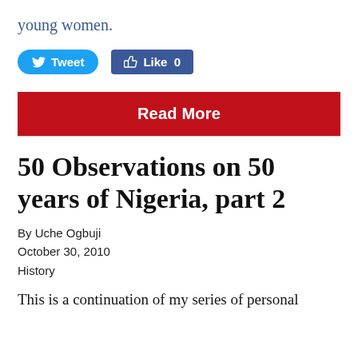young women.
[Figure (other): Social media buttons: Tweet button (blue, rounded) and Like 0 button (Facebook blue, rectangular)]
[Figure (other): Red 'Read More' button bar]
50 Observations on 50 years of Nigeria, part 2
By Uche Ogbuji
October 30, 2010
History
This is a continuation of my series of personal